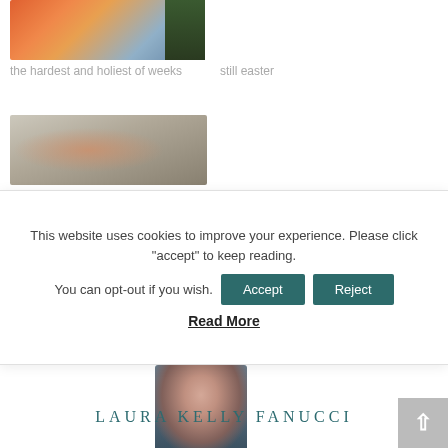[Figure (photo): Sunset sky photo with warm orange and pink tones and dark tree silhouettes]
the hardest and holiest of weeks
still easter
[Figure (photo): Desk photo with open books, pink sticky notes, and a laptop keyboard]
This website uses cookies to improve your experience. Please click "accept" to keep reading. You can opt-out if you wish.
Read More
[Figure (photo): Portrait photo of a smiling woman with dark hair, wearing a blue top]
LAURA KELLY FANUCCI